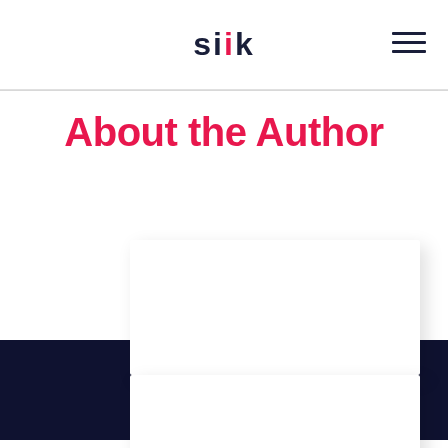silk
About the Author
[Figure (illustration): White book/card image split by a dark navy horizontal band across the page]